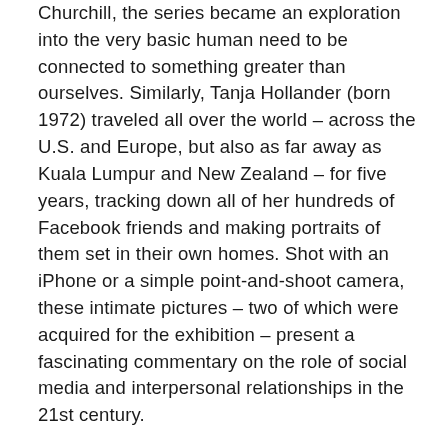Churchill, the series became an exploration into the very basic human need to be connected to something greater than ourselves. Similarly, Tanja Hollander (born 1972) traveled all over the world – across the U.S. and Europe, but also as far away as Kuala Lumpur and New Zealand – for five years, tracking down all of her hundreds of Facebook friends and making portraits of them set in their own homes. Shot with an iPhone or a simple point-and-shoot camera, these intimate pictures – two of which were acquired for the exhibition – present a fascinating commentary on the role of social media and interpersonal relationships in the 21st century.

Additional highlights of (un)expected families include photographs in a variety of formats. Caleb Cole (born 1981) is a local photographer particularly fascinated by the dynamics of family photographs found at estate sales and